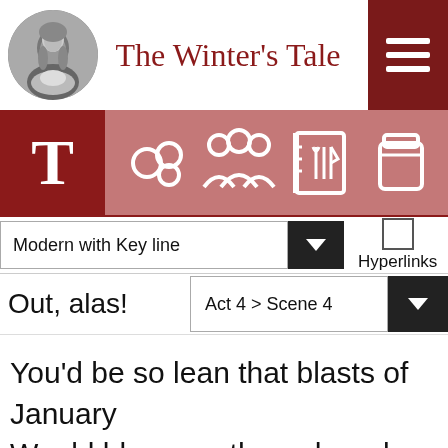The Winter's Tale
[Figure (illustration): Navigation icon bar with T (text), molecule, people, recipe book, jar icons on dark red/pink background]
Modern with Key line
Hyperlinks
Out, alas!
Act 4 > Scene 4
You'd be so lean that blasts of January Would blow you through and through. (To Florizel)